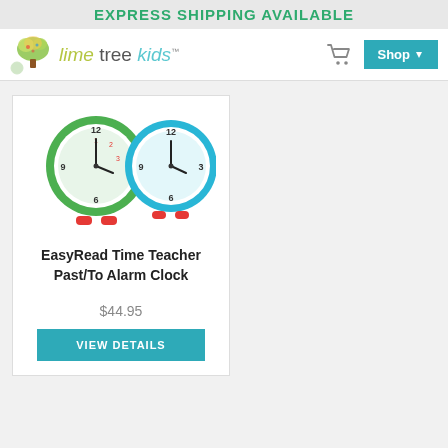EXPRESS SHIPPING AVAILABLE
[Figure (logo): Lime Tree Kids logo with tree icon and stylized text]
[Figure (illustration): Two colorful children's alarm clocks side by side — one with green accents, one with blue accents, both with red feet]
EasyRead Time Teacher Past/To Alarm Clock
$44.95
VIEW DETAILS